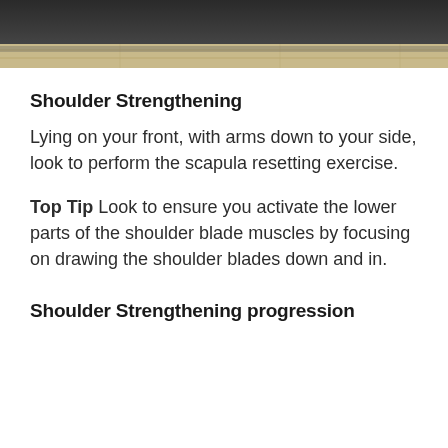[Figure (photo): Partial photo of a person lying on their front, with clothing and a wooden floor visible. Only the lower portion of the image is shown at the top of the page.]
Shoulder Strengthening
Lying on your front, with arms down to your side, look to perform the scapula resetting exercise.
Top Tip Look to ensure you activate the lower parts of the shoulder blade muscles by focusing on drawing the shoulder blades down and in.
Shoulder Strengthening progression